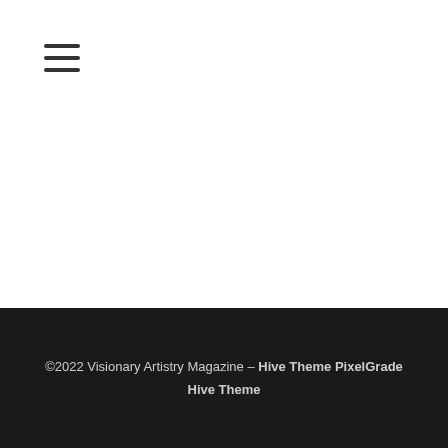☰
©2022 Visionary Artistry Magazine – Hive Theme PixelGrade Hive Theme